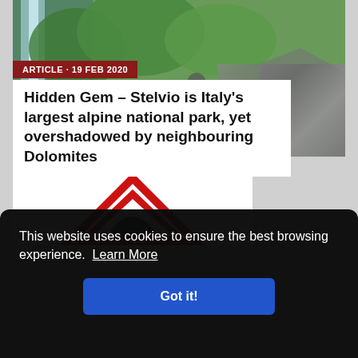[Figure (photo): Alpine mountain scene with waterfall on left, hiker with red jacket on trail, green forested hillside, rocky cliffs on right]
ARTICLE · 19 FEB 2020
Hidden Gem – Stelvio is Italy's largest alpine national park, yet overshadowed by neighbouring Dolomites
[Figure (logo): Red and black triangular warning/alpine sign logo]
This website uses cookies to ensure the best browsing experience.  Learn More
Got it!